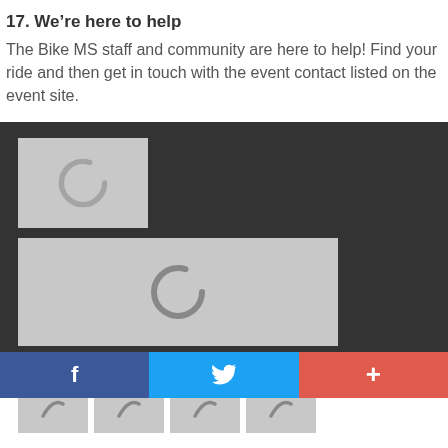17. We're here to help
The Bike MS staff and community are here to help! Find your ride and then get in touch with the event contact listed on the event site.
[Figure (other): Loading placeholder image (small, grey background with spinner icon)]
[Figure (other): Loading placeholder image (wide, grey background with spinner icon)]
Join us at one of our other events!
[Figure (other): Row of four small loading placeholder images with spinner icons]
f  [twitter bird]  +